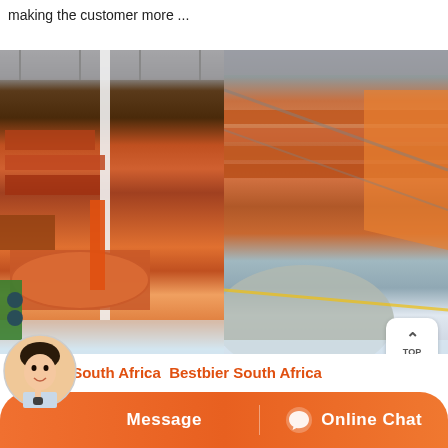making the customer more ...
[Figure (photo): Industrial mining/processing facility showing heavy machinery including conveyor belts, cylindrical drum/roller equipment, and processing equipment under a corrugated metal roof structure. Left panel shows close-up of machinery with orange/red colored equipment and a large cylindrical drum. Right panel shows rows of conveyor/sorting equipment.]
Bestbier South Africa Bestbier South Africa
Welcome to Bestbier South Africa Bestbier is a South African